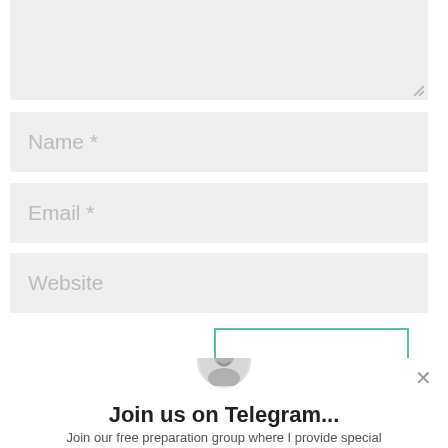[Figure (screenshot): A textarea form field with light grey background and resize handle in bottom-right corner]
Name *
Email *
Website
[Figure (screenshot): A popup overlay with a cartoon avatar, 'Join us on Telegram...' title, description text, and a Telegram button. Blue bar behind and scroll-to-top button visible.]
Join us on Telegram...
Join our free preparation group where I provide special content not available anywhere else!
Telegram